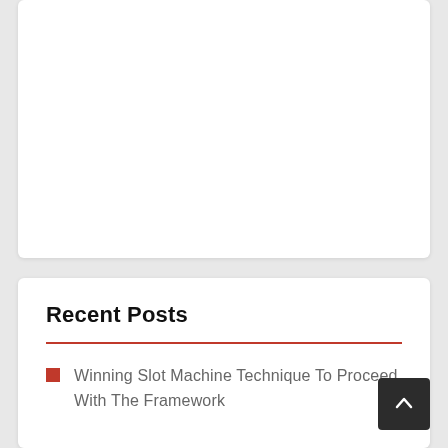[Figure (other): Empty white card panel at the top of the page]
Recent Posts
Winning Slot Machine Technique To Proceed With The Framework